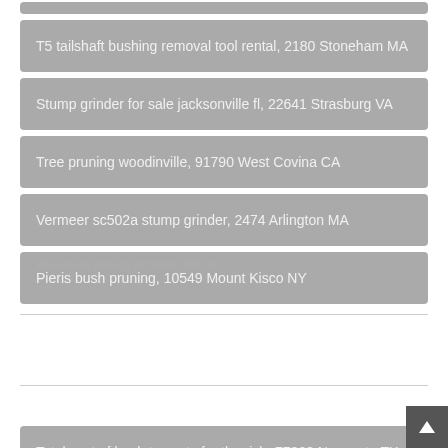T5 tailshaft bushing removal tool rental, 2180 Stoneham MA
Stump grinder for sale jacksonville fl, 22641 Strasburg VA
Tree pruning woodinville, 91790 West Covina CA
Vermeer sc502a stump grinder, 2474 Arlington MA
Pieris bush pruning, 10549 Mount Kisco NY
Total cost of bush tax cuts for the rich, 77868 Navasota TX